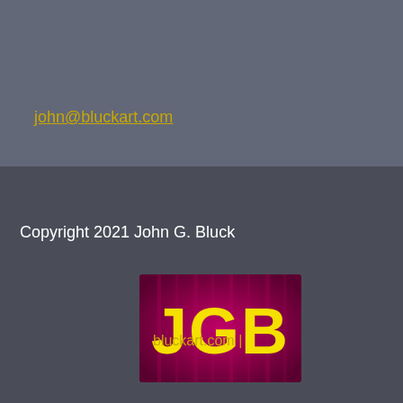john@bluckart.com
Copyright 2021 John G.  Bluck
[Figure (logo): JGB logo — bold yellow letters 'JGB' on a deep magenta/crimson background with a slight radial glow effect]
bluckart.com  |